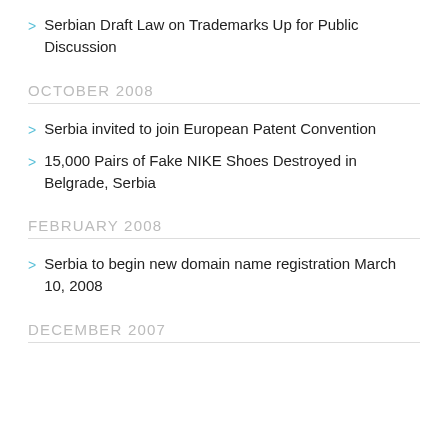Serbian Draft Law on Trademarks Up for Public Discussion
OCTOBER 2008
Serbia invited to join European Patent Convention
15,000 Pairs of Fake NIKE Shoes Destroyed in Belgrade, Serbia
FEBRUARY 2008
Serbia to begin new domain name registration March 10, 2008
DECEMBER 2007